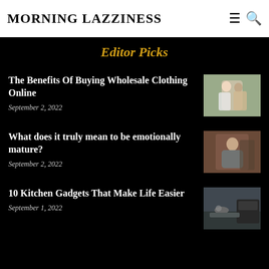MORNING LAZZINESS
Editor Picks
The Benefits Of Buying Wholesale Clothing Online
September 2, 2022
[Figure (photo): Two women looking at clothing or a document together]
What does it truly mean to be emotionally mature?
September 2, 2022
[Figure (photo): Person in a hat sitting in a relaxed pose]
10 Kitchen Gadgets That Make Life Easier
September 1, 2022
[Figure (photo): Person using kitchen appliances on a counter]